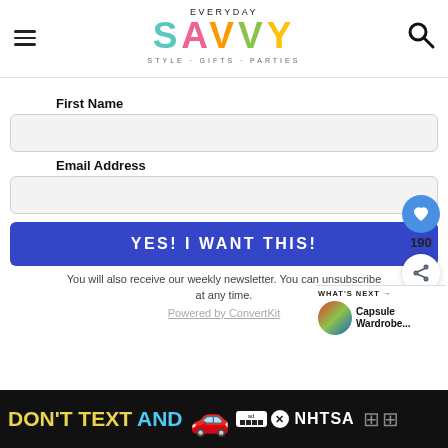[Figure (logo): Everyday Savvy logo with colorful letters and tagline 'STYLE · GIFTS · PARTIES']
First Name
Email Address
YES! I WANT THIS!
You will also receive our weekly newsletter. You can unsubscribe at any time.
Powered by ConvertKit
190
WHAT'S NEXT → Capsule Wardrobe...
[Figure (photo): Ad banner: DON'T TEXT AND [car emoji] with NHTSA badge]
DON'T TEXT AND